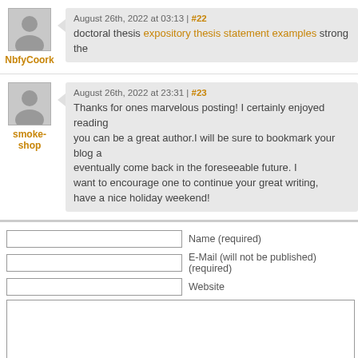August 26th, 2022 at 03:13 | #22
doctoral thesis expository thesis statement examples strong the
August 26th, 2022 at 23:31 | #23
Thanks for ones marvelous posting! I certainly enjoyed reading you can be a great author.I will be sure to bookmark your blog and eventually come back in the foreseeable future. I want to encourage one to continue your great writing, have a nice holiday weekend!
Name (required)
E-Mail (will not be published) (required)
Website
Subscribe to comments feed